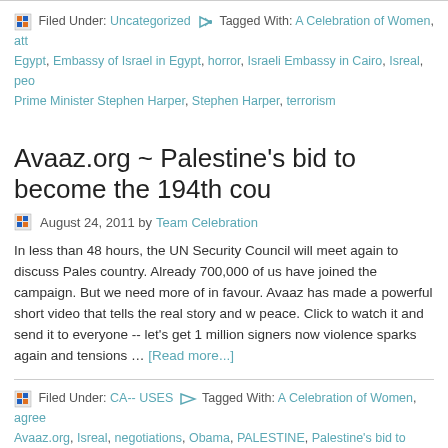Filed Under: Uncategorized  Tagged With: A Celebration of Women, att Egypt, Embassy of Israel in Egypt, horror, Israeli Embassy in Cairo, Isreal, peo Prime Minister Stephen Harper, Stephen Harper, terrorism
Avaaz.org ~ Palestine's bid to become the 194th cou
August 24, 2011 by Team Celebration
In less than 48 hours, the UN Security Council will meet again to discuss Pales country. Already 700,000 of us have joined the campaign. But we need more of in favour. Avaaz has made a powerful short video that tells the real story and w peace. Click to watch it and send it to everyone -- let's get 1 million signers now violence sparks again and tensions … [Read more...]
Filed Under: CA-- USES  Tagged With: A Celebration of Women, agree Avaaz.org, Isreal, negotiations, Obama, PALESTINE, Palestine's bid to become Authority, Peace, president Obama, Security Council, settlements, Take Action, World Peace
Yom Kippur – Wed, September 26, 2012
September 17, 2010 by admin